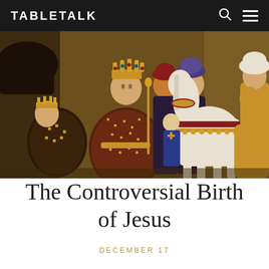TABLETALK
[Figure (illustration): Medieval painting depicting the Adoration of the Magi with ornately dressed figures including a crowned queen in jeweled robes, noblemen in rich attire, a white horse with decorative red and gold harness, and various other courtly figures against a warm golden background.]
The Controversial Birth of Jesus
DECEMBER 17